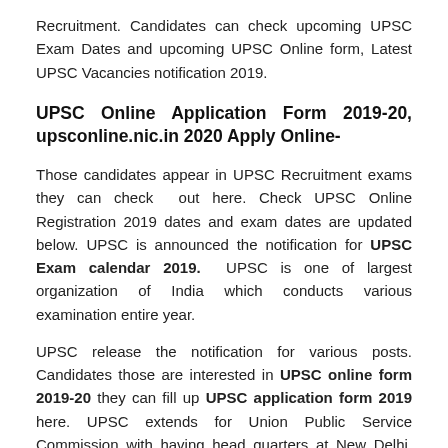Recruitment. Candidates can check upcoming UPSC Exam Dates and upcoming UPSC Online form, Latest UPSC Vacancies notification 2019.
UPSC Online Application Form 2019-20, upsconline.nic.in 2020 Apply Online-
Those candidates appear in UPSC Recruitment exams they can check out here. Check UPSC Online Registration 2019 dates and exam dates are updated below. UPSC is announced the notification for UPSC Exam calendar 2019. UPSC is one of largest organization of India which conducts various examination entire year.
UPSC release the notification for various posts. Candidates those are interested in UPSC online form 2019-20 they can fill up UPSC application form 2019 here. UPSC extends for Union Public Service Commission with having head quarters at New Delhi. They are going every year to notify different